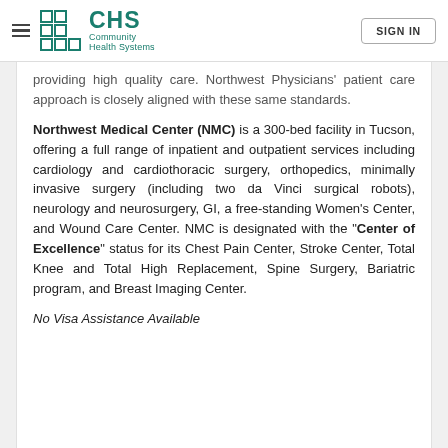CHS Community Health Systems — SIGN IN
providing high quality care. Northwest Physicians' patient care approach is closely aligned with these same standards.
Northwest Medical Center (NMC) is a 300-bed facility in Tucson, offering a full range of inpatient and outpatient services including cardiology and cardiothoracic surgery, orthopedics, minimally invasive surgery (including two da Vinci surgical robots), neurology and neurosurgery, GI, a free-standing Women's Center, and Wound Care Center. NMC is designated with the "Center of Excellence" status for its Chest Pain Center, Stroke Center, Total Knee and Total High Replacement, Spine Surgery, Bariatric program, and Breast Imaging Center.
No Visa Assistance Available